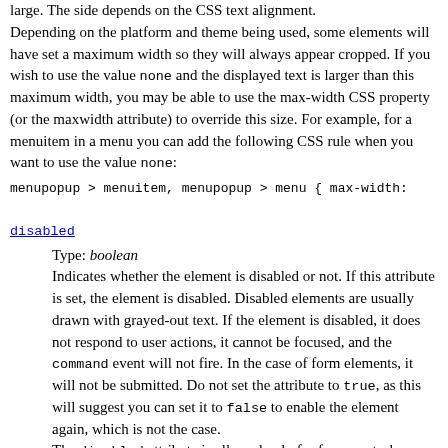large. The side depends on the CSS text alignment. Depending on the platform and theme being used, some elements will have set a maximum width so they will always appear cropped. If you wish to use the value none and the displayed text is larger than this maximum width, you may be able to use the max-width CSS property (or the maxwidth attribute) to override this size. For example, for a menuitem in a menu you can add the following CSS rule when you want to use the value none:
menupopup > menuitem, menupopup > menu { max-width:
disabled
Type: boolean
Indicates whether the element is disabled or not. If this attribute is set, the element is disabled. Disabled elements are usually drawn with grayed-out text. If the element is disabled, it does not respond to user actions, it cannot be focused, and the command event will not fire. In the case of form elements, it will not be submitted. Do not set the attribute to true, as this will suggest you can set it to false to enable the element again, which is not the case. The disabled attribute is allowed only for form controls. Using it with an anchor tag (an <a> link) will have no effect. The element will, however, still respond to mouse events. To